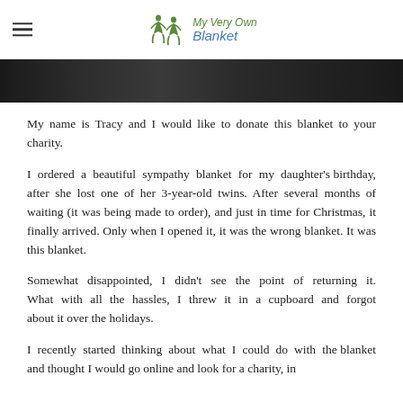My Very Own Blanket
[Figure (photo): Partial photo strip showing a dark image, likely a blanket or fabric item]
My name is Tracy and I would like to donate this blanket to your charity.
I ordered a beautiful sympathy blanket for my daughter's birthday, after she lost one of her 3-year-old twins. After several months of waiting (it was being made to order), and just in time for Christmas, it finally arrived. Only when I opened it, it was the wrong blanket. It was this blanket.
Somewhat disappointed, I didn't see the point of returning it. What with all the hassles, I threw it in a cupboard and forgot about it over the holidays.
I recently started thinking about what I could do with the blanket and thought I would go online and look for a charity, in